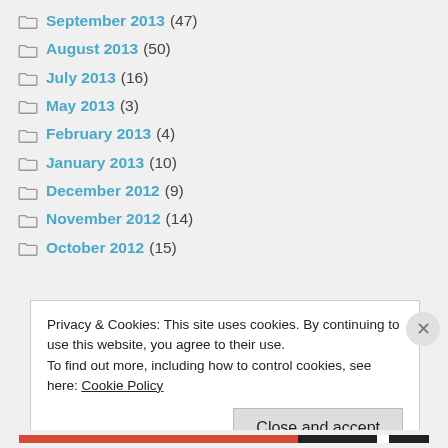September 2013 (47)
August 2013 (50)
July 2013 (16)
May 2013 (3)
February 2013 (4)
January 2013 (10)
December 2012 (9)
November 2012 (14)
October 2012 (15)
Privacy & Cookies: This site uses cookies. By continuing to use this website, you agree to their use. To find out more, including how to control cookies, see here: Cookie Policy
Close and accept